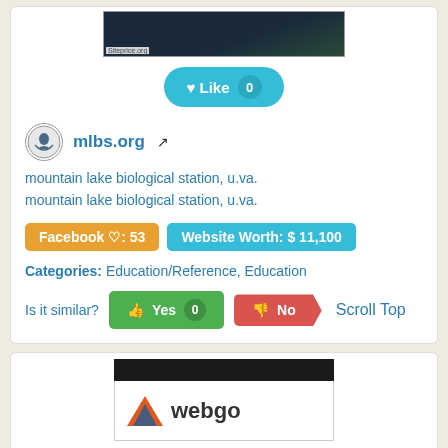[Figure (screenshot): Dark screenshot image with Siteprice.org watermark label]
Like 0
mlbs.org
mountain lake biological station, u.va.
mountain lake biological station, u.va.
Facebook ♡: 53   Website Worth: $ 11,100
Categories: Education/Reference, Education
Is it similar?  Yes 0  No  Scroll Top
[Figure (screenshot): Webgo website screenshot showing logo with orange/blue triangle and webgo text]